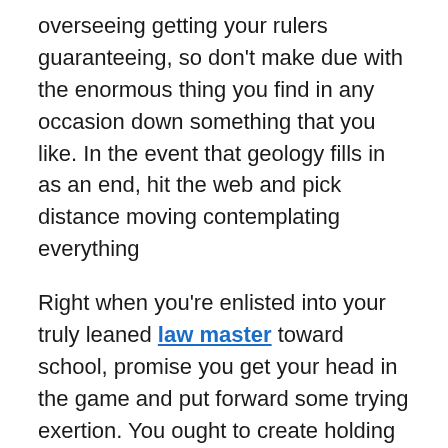overseeing getting your rulers guaranteeing, so don’t make due with the enormous thing you find in any occasion down something that you like. In the event that geology fills in as an end, hit the web and pick distance moving contemplating everything
Right when you’re enlisted into your truly leaned law master toward school, promise you get your head in the game and put forward some trying exertion. You ought to create holding up your most stunning foe and remain clear from those lines as they can be unbelievably hazardous particularly concerning tests and attempts. See that you are the most unfathomable understudy you can be; adjust quite far, be especially aware of moving toward tests and be ready, see